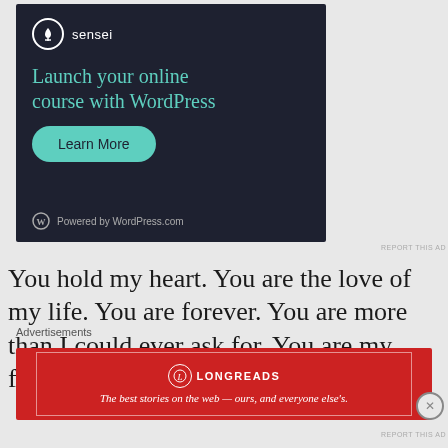[Figure (screenshot): Sensei advertisement banner with dark navy background. Shows Sensei logo (tree icon in circle) and brand name, headline 'Launch your online course with WordPress' in teal, a 'Learn More' teal pill button, and 'Powered by WordPress.com' footer with WordPress logo.]
REPORT THIS AD
You hold my heart. You are the love of my life. You are forever. You are more than I could ever ask for. You are my faith, and you
Advertisements
[Figure (screenshot): Longreads advertisement banner with red background, white border inset. Shows Longreads logo (L in circle) and brand name, tagline 'The best stories on the web — ours, and everyone else's.']
REPORT THIS AD